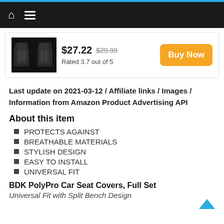Navigation bar with home and menu icons
[Figure (photo): Black car seat covers product image]
$27.22 $29.99 Rated 3.7 out of 5
Last update on 2021-03-12 / Affiliate links / Images / Information from Amazon Product Advertising API
About this item
PROTECTS AGAINST
BREATHABLE MATERIALS
STYLISH DESIGN
EASY TO INSTALL
UNIVERSAL FIT
BDK PolyPro Car Seat Covers, Full Set
Universal Fit with Split Bench Design